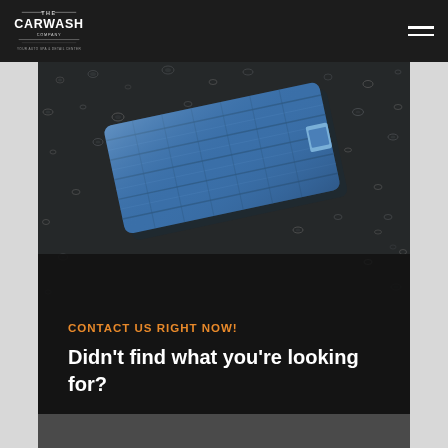[Figure (logo): The Carwash Company logo in white on dark navbar]
[Figure (photo): Dark wet surface with water droplets and a blue microfiber cloth on top — hero/banner image for car wash service page]
CONTACT US RIGHT NOW!
Didn't find what you're looking for?